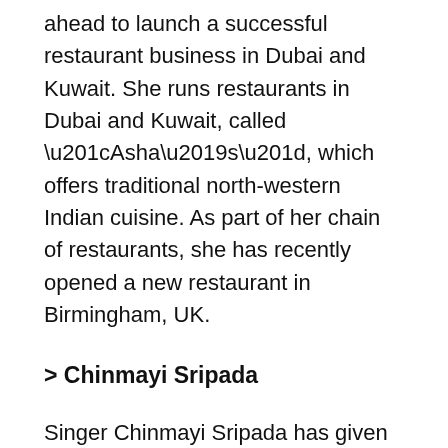ahead to launch a successful restaurant business in Dubai and Kuwait. She runs restaurants in Dubai and Kuwait, called “Asha’s”, which offers traditional north-western Indian cuisine. As part of her chain of restaurants, she has recently opened a new restaurant in Birmingham, UK.
> Chinmayi Sripada
Singer Chinmayi Sripada has given her voice to many Bollywood and regional songs too. Business is also on her plate. The regional artist also serves as the CEO of Blue Elephant, a translation services company she founded in August 2005; and her company has been the language service provider for various MNCs like Scope E Knowledge, Ford, Dell, Ashok Leyland, Reliance India, to